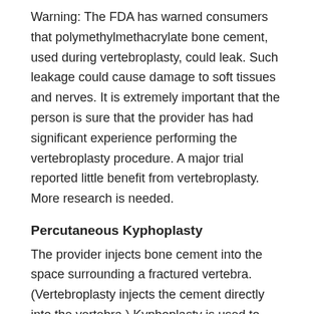Warning: The FDA has warned consumers that polymethylmethacrylate bone cement, used during vertebroplasty, could leak. Such leakage could cause damage to soft tissues and nerves. It is extremely important that the person is sure that the provider has had significant experience performing the vertebroplasty procedure. A major trial reported little benefit from vertebroplasty. More research is needed.
Percutaneous Kyphoplasty
The provider injects bone cement into the space surrounding a fractured vertebra. (Vertebroplasty injects the cement directly into the vertebra.) Kyphoplasty is used to stabilize the spine and return spinal height to as normal as possible. Kyphoplasty should only be done if bed rest, medicines, and physical therapy do not relieve back pain.